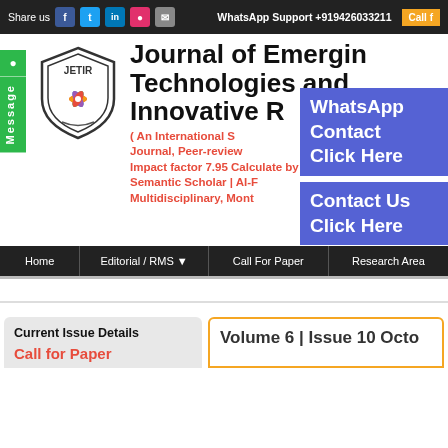Share us   WhatsApp Support +919426033211   Call f...
[Figure (logo): JETIR shield logo with colorful flower emblem]
Journal of Emerging Technologies and Innovative R...
( An International S... Journal, Peer-reviewed, ... Impact factor 7.95 Calculate by Google Semantic Scholar | AI-F... Multidisciplinary, Mont...
WhatsApp Contact Click Here
Contact Us Click Here
● Message
Home   Editorial / RMS ▼   Call For Paper   Research Area...
Current Issue Details
Call for Paper
Volume 6 | Issue 10 Octo...